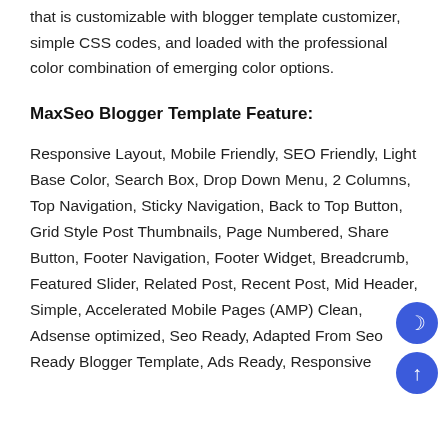that is customizable with blogger template customizer, simple CSS codes, and loaded with the professional color combination of emerging color options.
MaxSeo Blogger Template Feature:
Responsive Layout, Mobile Friendly, SEO Friendly, Light Base Color, Search Box, Drop Down Menu, 2 Columns, Top Navigation, Sticky Navigation, Back to Top Button, Grid Style Post Thumbnails, Page Numbered, Share Button, Footer Navigation, Footer Widget, Breadcrumb, Featured Slider, Related Post, Recent Post, Mid Header, Simple, Accelerated Mobile Pages (AMP) Clean, Adsense optimized, Seo Ready, Adapted From Seo Ready Blogger Template, Ads Ready, Responsive